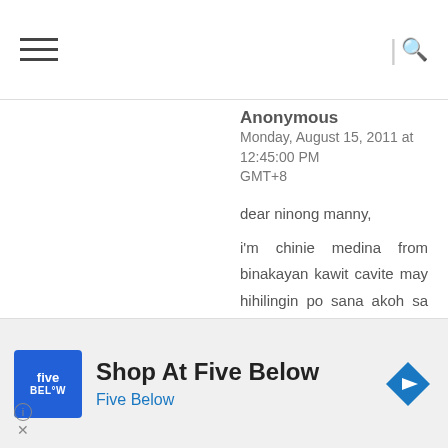Navigation bar with hamburger menu and search icon
Anonymous
Monday, August 15, 2011 at 12:45:00 PM GMT+8
dear ninong manny,

i'm chinie medina from binakayan kawit cavite may hihilingin po sana akoh sa inyo na simpleng bagay hindi po akoh hihiling sa inyo ng financial peo hihiling lang po sana akoh sa inyo ng isang "SLR DIGITAL CAMERA" kasi po gustong gusto ko po tlga nun kasi po hilig ko po kumuha ng mag
[Figure (other): Advertisement banner for Five Below store with logo, title 'Shop At Five Below', subtitle 'Five Below', and navigation arrow icon]